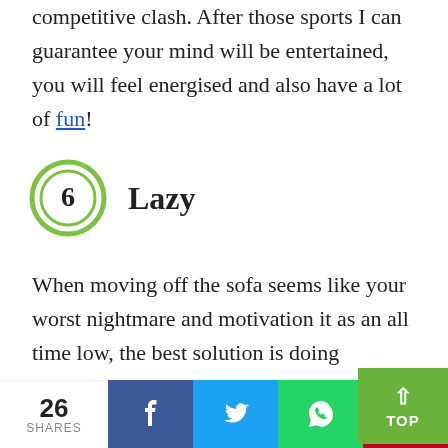competitive clash. After those sports I can guarantee your mind will be entertained, you will feel energised and also have a lot of fun!
6 Lazy
When moving off the sofa seems like your worst nightmare and motivation it as an all time low, the best solution is doing something that will pump you up, most preferably with some else! If netflix has uploaded a new season of your favouri
26 SHARES